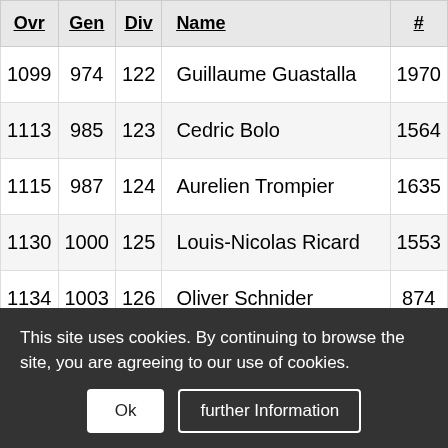| Ovr | Gen | Div | Name | # |
| --- | --- | --- | --- | --- |
| 1099 | 974 | 122 | Guillaume Guastalla | 1970 |
| 1113 | 985 | 123 | Cedric Bolo | 1564 |
| 1115 | 987 | 124 | Aurelien Trompier | 1635 |
| 1130 | 1000 | 125 | Louis-Nicolas Ricard | 1553 |
| 1134 | 1003 | 126 | Oliver Schnider | 874 |
| 1158 | 1023 | 127 | Lionel Lapompe-Paironne | 1916 |
This site uses cookies. By continuing to browse the site, you are agreeing to our use of cookies.